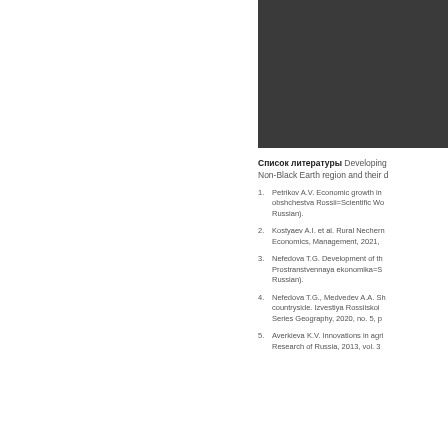[Figure (photo): Dark/black rectangular block in the upper right portion of the page]
Список литературы Developing Non-Black Earth region and their d
1. Petrikov A.V. Economic growth in obshchestva Rossii=Scientific Wo Russian).
2. Kostyaev A.I. et al. Rural Nechern Economics, Management, 2021,
3. Nefedova T.G. Development of th Prostranstvennaya ekonomika=S Russian).
4. Nefedova T.G., Medvedev A.A. Sh countryside. Izvestiya Rossiiskoi Series Geography, 2020, no. 5, p
5. Averkieva K.V. Innovations in agri Research of Russia, 2013, vol. 3